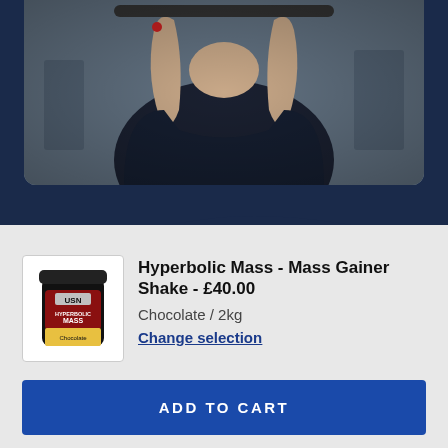[Figure (photo): A person in a dark sleeveless shirt lifting weights at a gym, photographed from below/mid angle showing muscular arms and gym equipment in the background.]
Hyperbolic Mass - Mass Gainer Shake - £40.00
Chocolate / 2kg
Change selection
ADD TO CART